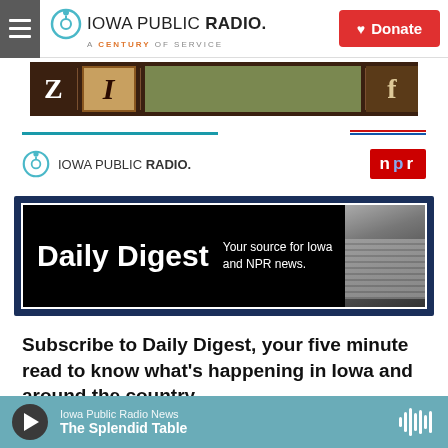Iowa Public Radio. A Century of Service | Donate
[Figure (screenshot): Advertisement banner with dark brown background showing letters Z, I (stylized), a green money image, and Facebook logo]
[Figure (logo): Iowa Public Radio logo with NPR badge on the right. Teal and red/blue horizontal lines above.]
[Figure (screenshot): Daily Digest banner: bold white text 'Daily Digest' on black background with tagline 'Your source for Iowa and NPR news.' and a photo of a newspaper/book in background. Dark navy border frame.]
Subscribe to Daily Digest, your five minute read to know what's happening in Iowa and around the country.
* indicates required
Iowa Public Radio News | The Splendid Table